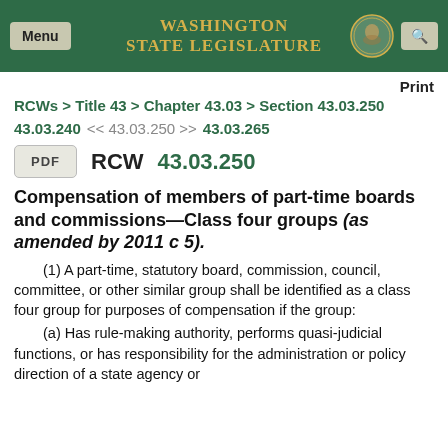Washington State Legislature
Print
RCWs > Title 43 > Chapter 43.03 > Section 43.03.250
43.03.240  <<  43.03.250 >>  43.03.265
PDF  RCW 43.03.250
Compensation of members of part-time boards and commissions—Class four groups (as amended by 2011 c 5).
(1) A part-time, statutory board, commission, council, committee, or other similar group shall be identified as a class four group for purposes of compensation if the group:
(a) Has rule-making authority, performs quasi-judicial functions, or has responsibility for the administration or policy direction of a state agency or